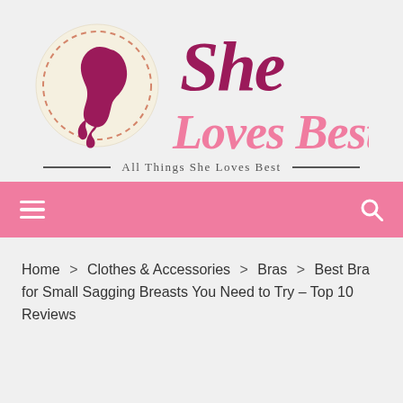[Figure (logo): She Loves Best website logo with circular icon showing a woman's silhouette profile and brand name text]
All Things She Loves Best
[Figure (other): Pink navigation bar with hamburger menu icon on left and search icon on right]
Home > Clothes & Accessories > Bras > Best Bra for Small Sagging Breasts You Need to Try – Top 10 Reviews